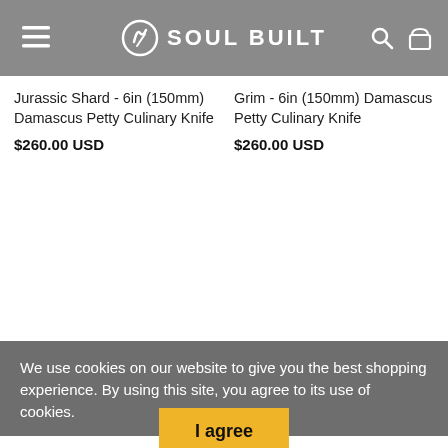SOUL BUILT
Jurassic Shard - 6in (150mm) Damascus Petty Culinary Knife
$260.00 USD
Grim - 6in (150mm) Damascus Petty Culinary Knife
$260.00 USD
We use cookies on our website to give you the best shopping experience. By using this site, you agree to its use of cookies.
Fade to Midnight - 6in (150mm) Damascus Petty Culinary Knife
slayer - 6in (150mm) Damascus Petty Culinary Knife